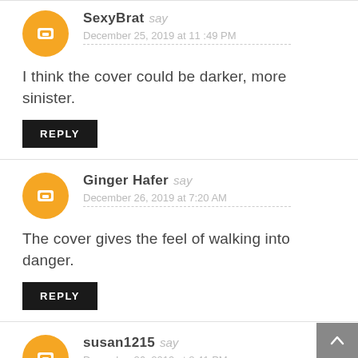SexyBrat say
December 25, 2019 at 11:49 PM
I think the cover could be darker, more sinister.
REPLY
Ginger Hafer say
December 26, 2019 at 7:20 AM
The cover gives the feel of walking into danger.
REPLY
susan1215 say
December 26, 2019 at 8:41 PM